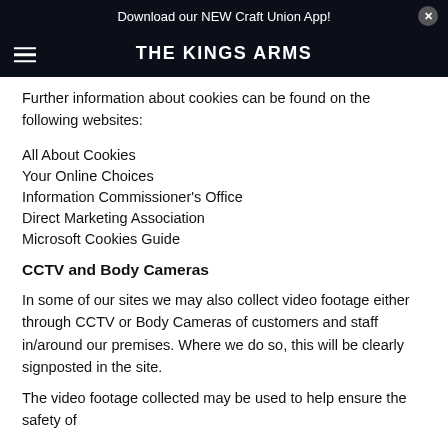Download our NEW Craft Union App!
THE KINGS ARMS
Further information about cookies can be found on the following websites:
All About Cookies
Your Online Choices
Information Commissioner's Office
Direct Marketing Association
Microsoft Cookies Guide
CCTV and Body Cameras
In some of our sites we may also collect video footage either through CCTV or Body Cameras of customers and staff in/around our premises. Where we do so, this will be clearly signposted in the site.
The video footage collected may be used to help ensure the safety of